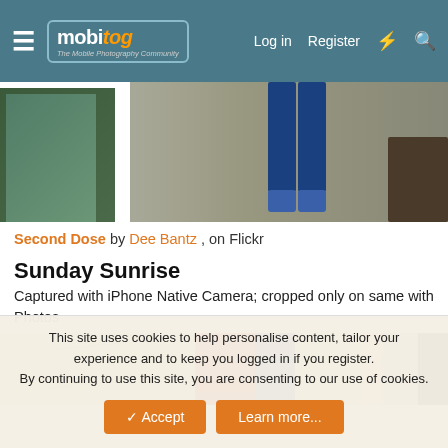mobitog — The Mobile Photography Community | Log in | Register
[Figure (photo): Street-level photo showing the lower half of a person wearing blue jeans and blue shoes, standing on a pavement beside a large glass window/door frame]
Second Dose by Dee Bantz, on Flickr
Sunday Sunrise
Captured with iPhone Native Camera; cropped only on same with Photos
[Figure (photo): Close-up photo showing abstract shapes including a red stripe and blue stripe on a light-coloured surface with crack lines, and a dark right edge]
This site uses cookies to help personalise content, tailor your experience and to keep you logged in if you register. By continuing to use this site, you are consenting to our use of cookies.